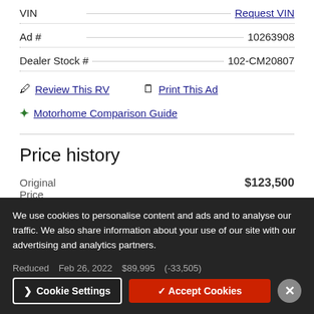VIN
Request VIN
Ad # 10263908
Dealer Stock # 102-CM20807
Review This RV
Print This Ad
Motorhome Comparison Guide
Price history
Original Price $123,500
Reduced Feb 26, 2022 $89,995 (-33,505)
We use cookies to personalise content and ads and to analyse our traffic. We also share information about your use of our site with our advertising and analytics partners.
Cookie Settings
Accept Cookies